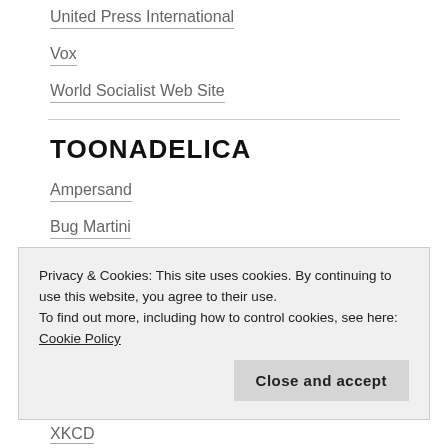United Press International
Vox
World Socialist Web Site
TOONADELICA
Ampersand
Bug Martini
Clowncrack
Danziger Cartoons
Privacy & Cookies: This site uses cookies. By continuing to use this website, you agree to their use.
To find out more, including how to control cookies, see here: Cookie Policy
XKCD